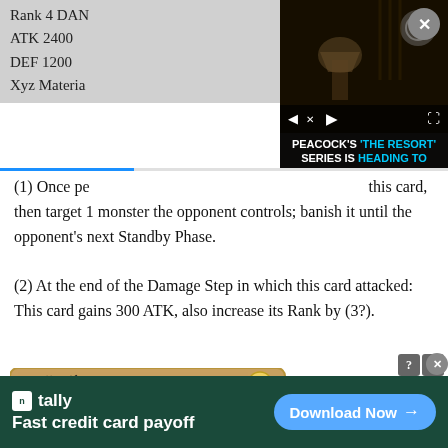Rank 4 DAN
ATK 2400
DEF 1200
Xyz Material...
[Figure (screenshot): Video player overlay showing Peacock ad: 'PEACOCK'S THE RESORT' SERIES IS HEADING TO PRIMETIME NBC' with playback controls and dark background scene.]
(1) Once per [turn], you can detach 1 Xyz Material from this card, then target 1 monster the opponent controls; banish it until the opponent's next Standby Phase.
(2) At the end of the Damage Step in which this card attacked: This card gains 300 ATK, also increase its Rank by (3?).
[Figure (photo): Yu-Gi-Oh trading card showing Japanese text 'ONiサンダー' with a light attribute symbol, orange orbs, and a glowing blue/white energy image on orange card background. Partially visible ONi logo to the right.]
[Figure (screenshot): Tally advertisement banner: dark green background with Tally logo and text 'Fast credit card payoff' and 'Download Now' button.]